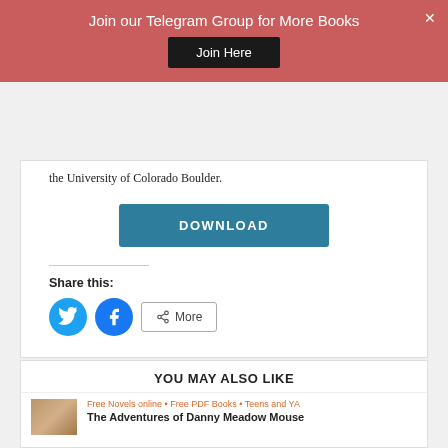Join our Telegram Group for More Books
the University of Colorado Boulder.
[Figure (other): DOWNLOAD button (teal/blue rounded rectangle)]
Share this:
[Figure (other): Social share buttons: Twitter (blue bird icon circle), Facebook (blue f icon circle), More button with share icon]
YOU MAY ALSO LIKE
[Figure (other): Book thumbnail image]
Free Novels online • Free PDF Books • Teens and YA
The Adventures of Danny Meadow Mouse